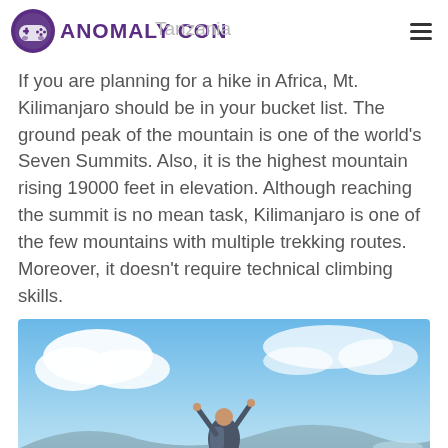Anomaly Con — Tanzania
If you are planning for a hike in Africa, Mt. Kilimanjaro should be in your bucket list. The ground peak of the mountain is one of the world's Seven Summits. Also, it is the highest mountain rising 19000 feet in elevation. Although reaching the summit is no mean task, Kilimanjaro is one of the few mountains with multiple trekking routes. Moreover, it doesn't require technical climbing skills.
[Figure (photo): Person with backpack and arms raised in triumph standing on a mountain peak with blue sky and clouds in the background]